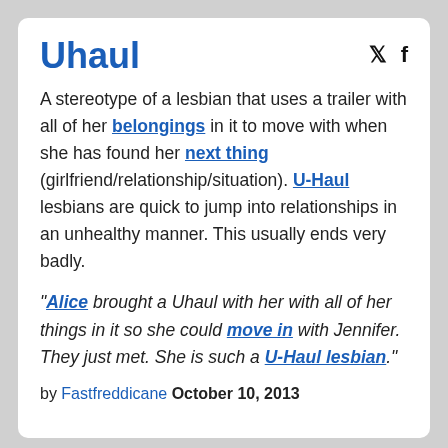Uhaul
A stereotype of a lesbian that uses a trailer with all of her belongings in it to move with when she has found her next thing (girlfriend/relationship/situation). U-Haul lesbians are quick to jump into relationships in an unhealthy manner. This usually ends very badly.
"Alice brought a Uhaul with her with all of her things in it so she could move in with Jennifer. They just met. She is such a U-Haul lesbian."
by Fastfreddicane October 10, 2013